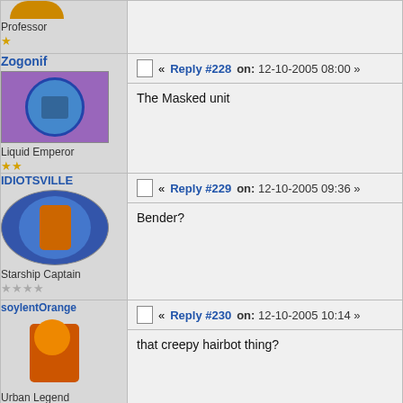Professor ★
Zogonif — Liquid Emperor ★★ — Reply #228 on: 12-10-2005 08:00 — The Masked unit
IDIOTSVILLE — Starship Captain ☆☆☆☆ — Reply #229 on: 12-10-2005 09:36 — Bender?
soylentOrange — Urban Legend ★★★ — Reply #230 on: 12-10-2005 10:14 — that creepy hairbot thing?
NoticeablyFAT — Reply #231 on: 12-10-2005 17:37